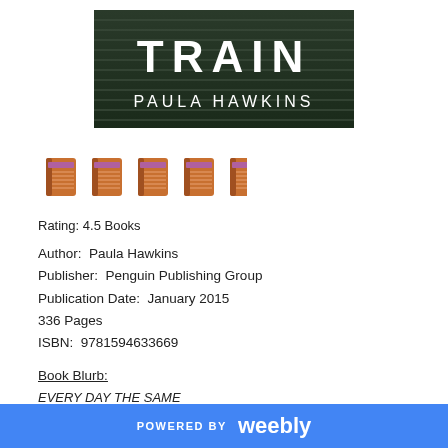[Figure (photo): Book cover of 'The Girl on the Train' by Paula Hawkins showing the title TRAIN and author name PAULA HAWKINS on a dark background with horizontal lines.]
[Figure (illustration): Five book emoji icons representing a rating of 4.5 books.]
Rating: 4.5 Books
Author:  Paula Hawkins
Publisher:  Penguin Publishing Group
Publication Date:  January 2015
336 Pages
ISBN:  9781594633669
Book Blurb:
EVERY DAY THE SAME
Rachel takes the same commuter train every morning and
POWERED BY weebly